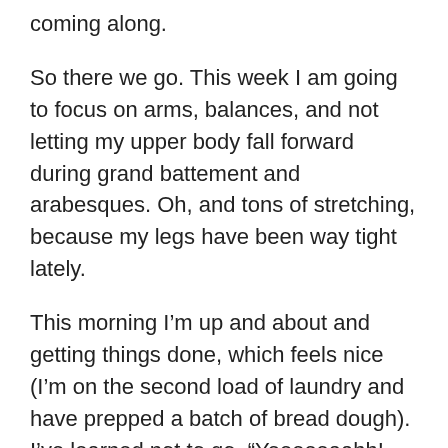coming along.
So there we go. This week I am going to focus on arms, balances, and not letting my upper body fall forward during grand battement and arabesques. Oh, and tons of stretching, because my legs have been way tight lately.
This morning I’m up and about and getting things done, which feels nice (I’m on the second load of laundry and have prepped a batch of bread dough). I’ve learned not to go, “Yeeeeeaahh! Now I’m going to live like a real grown-up from now on!” whenever this happens — instead, I accept it for what it is; a nice boost to my available time.
While my mood has been more stable for the past few months than — well, possibly ever in my entire life, really — I try not to take it for granted. There are definitely